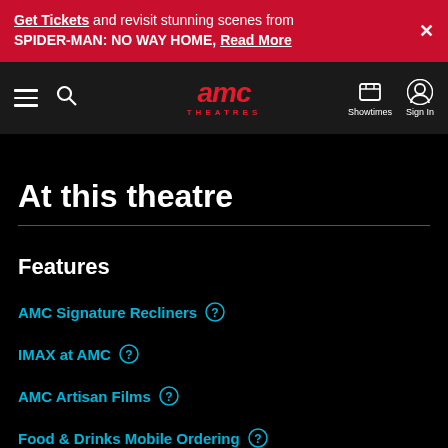Get Tickets and revisit stunning scenes from SPIDER-MAN: NO WAY HOME, Read More
[Figure (logo): AMC Theatres navigation bar with hamburger menu, search icon, AMC Theatres logo, Showtimes and Sign In icons]
At this theatre
Features
AMC Signature Recliners
IMAX at AMC
AMC Artisan Films
Food & Drinks Mobile Ordering